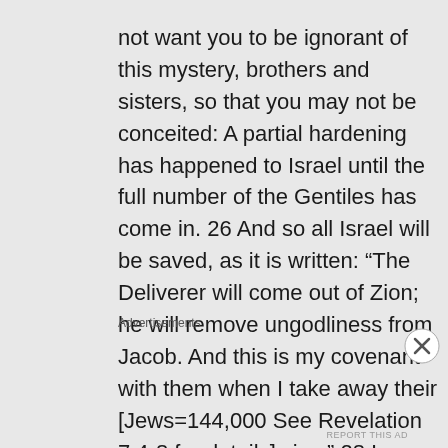not want you to be ignorant of this mystery, brothers and sisters, so that you may not be conceited: A partial hardening has happened to Israel until the full number of the Gentiles has come in. 26 And so all Israel will be saved, as it is written: “The Deliverer will come out of Zion; he will remove ungodliness from Jacob. And this is my covenant with them when I take away their [Jews=144,000 See Revelation 7:4-8 for details] sins.” 28 In regard to
Advertisements